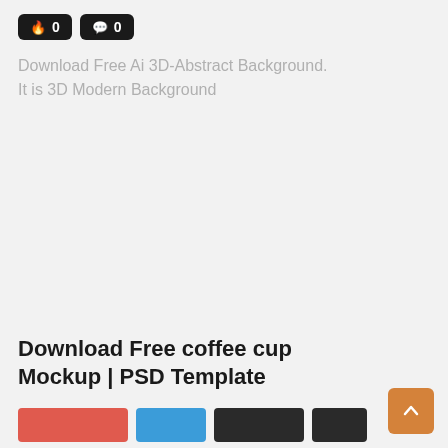[Figure (infographic): Two dark badge buttons showing fire icon with count 0 and speech bubble icon with count 0]
Download Free Ai 3D-Abstract Background. It is 3D Modern Background
Download Free coffee cup Mockup | PSD Template
[Figure (infographic): Row of social share buttons: red, blue, dark, dark]
[Figure (infographic): Orange scroll-to-top button with upward chevron arrow]